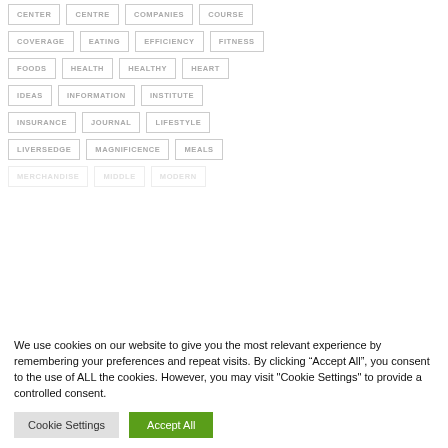CENTER
CENTRE
COMPANIES
COURSE
COVERAGE
EATING
EFFICIENCY
FITNESS
FOODS
HEALTH
HEALTHY
HEART
IDEAS
INFORMATION
INSTITUTE
INSURANCE
JOURNAL
LIFESTYLE
LIVERSEDGE
MAGNIFICENCE
MEALS
MERCHANDISE
MIDDLE
MODERN
We use cookies on our website to give you the most relevant experience by remembering your preferences and repeat visits. By clicking “Accept All”, you consent to the use of ALL the cookies. However, you may visit "Cookie Settings" to provide a controlled consent.